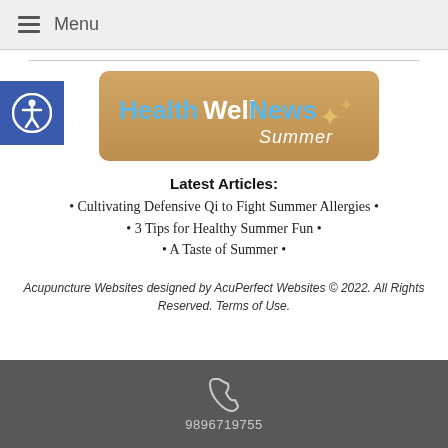≡ Menu
[Figure (logo): HealthWellNews Summer logo banner with sandy beach background and starfish, text 'HealthWellNews Summer']
Latest Articles:
• Cultivating Defensive Qi to Fight Summer Allergies •
• 3 Tips for Healthy Summer Fun •
• A Taste of Summer •
Acupuncture Websites designed by AcuPerfect Websites © 2022. All Rights Reserved. Terms of Use.
9896719755